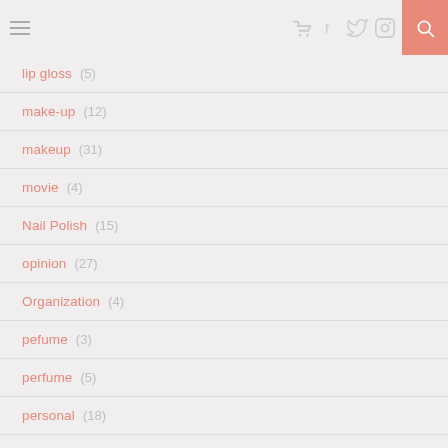lip gloss (5)
make-up (12)
makeup (31)
movie (4)
Nail Polish (15)
opinion (27)
Organization (4)
pefume (3)
perfume (5)
personal (18)
pets (11)
Planner (3)
Products (178)